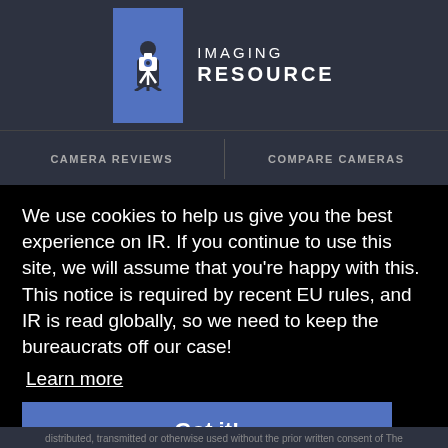[Figure (logo): Imaging Resource logo: blue rectangle icon with camera-person silhouette, text 'IMAGING RESOURCE' in white uppercase letters]
CAMERA REVIEWS   COMPARE CAMERAS
We use cookies to help us give you the best experience on IR. If you continue to use this site, we will assume that you're happy with this. This notice is required by recent EU rules, and IR is read globally, so we need to keep the bureaucrats off our case!
Learn more
Got it!
distributed, transmitted or otherwise used without the prior written consent of The